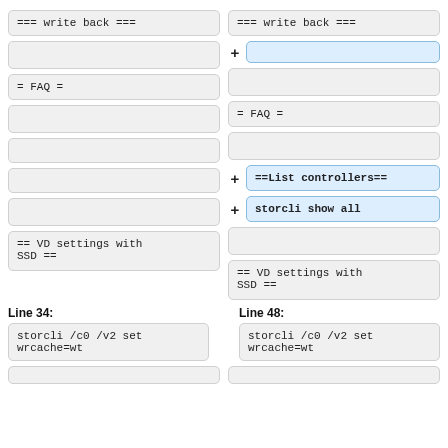=== write back ===
=== write back ===
(empty box)
(empty added line, highlighted)
(empty box)
(empty box)
= FAQ =
= FAQ =
(empty box)
(empty box)
==List controllers==
storcli show all
(empty box)
(empty box)
== VD settings with
SSD ==
== VD settings with
SSD ==
Line 34:
Line 48:
storcli /c0 /v2 set
wrcache=wt
storcli /c0 /v2 set
wrcache=wt